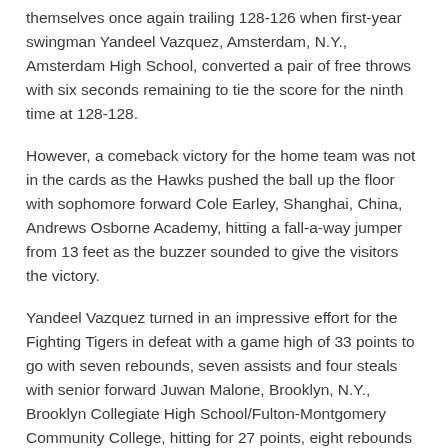themselves once again trailing 128-126 when first-year swingman Yandeel Vazquez, Amsterdam, N.Y., Amsterdam High School, converted a pair of free throws with six seconds remaining to tie the score for the ninth time at 128-128.
However, a comeback victory for the home team was not in the cards as the Hawks pushed the ball up the floor with sophomore forward Cole Earley, Shanghai, China, Andrews Osborne Academy, hitting a fall-a-way jumper from 13 feet as the buzzer sounded to give the visitors the victory.
Yandeel Vazquez turned in an impressive effort for the Fighting Tigers in defeat with a game high of 33 points to go with seven rebounds, seven assists and four steals with senior forward Juwan Malone, Brooklyn, N.Y., Brooklyn Collegiate High School/Fulton-Montgomery Community College, hitting for 27 points, eight rebounds and seven assists. Shaun Johnson also played a major role in the game for the home team with 23 points, four rebounds and three steals.
Cobleskill had several other notable efforts as Naphtali